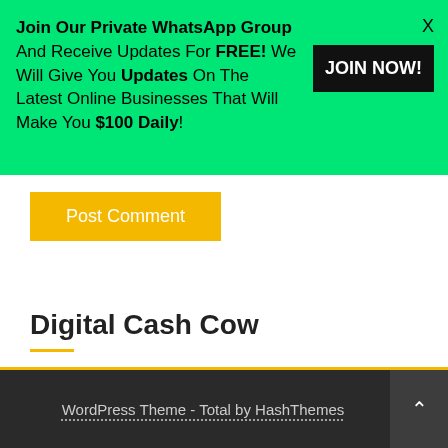Join Our Private WhatsApp Group And Receive Updates For FREE! We Will Give You Updates On The Latest Online Businesses That Will Make You $100 Daily!
JOIN NOW!
X
Post Comment
Digital Cash Cow
Make Money Online
WordPress Theme - Total by HashThemes